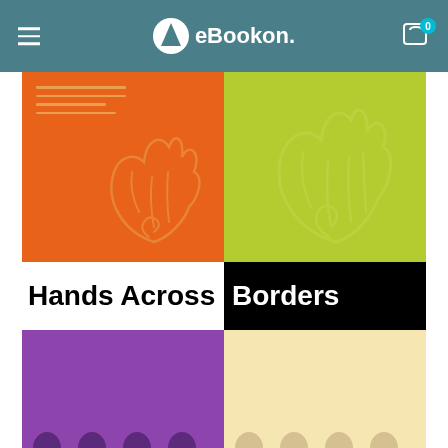eBookon.
[Figure (illustration): Book cover for 'Hands Across Borders: A Multicultural Reader for Writers' by Elizabeth Rodriguez Kessler. Four-quadrant design: top-left orange with hand print motif and horizontal lines, top-right lime green with hand print motif, middle black/white title bar with 'Hands Across Borders', bottom-left purple with subtitle text, bottom-right pale yellow with author name. Silhouette figures at the bottom edge.]